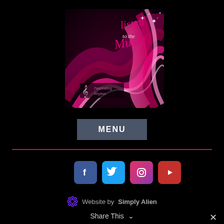[Figure (illustration): Album art for 'Listen to the Music' by Fascinating Rhythm, featuring pink and magenta flowing ribbon waves on a dark background with sparkles and the text 'listen to the Music' in pink script, and the Fascinating Rhythm logo with treble clef in the lower left.]
MENU
[Figure (infographic): Row of four social media icon buttons: Facebook (blue), Twitter (light blue), Instagram (pink gradient), YouTube (red)]
Website by Simply Alien
Share This ∨
✕